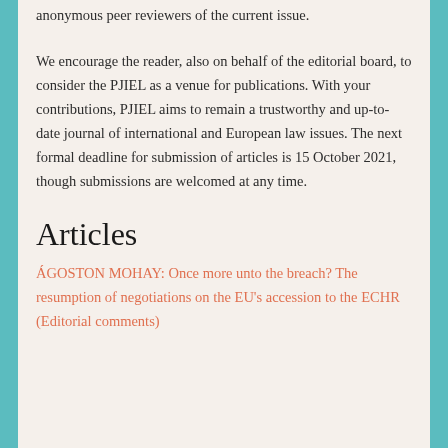anonymous peer reviewers of the current issue.
We encourage the reader, also on behalf of the editorial board, to consider the PJIEL as a venue for publications. With your contributions, PJIEL aims to remain a trustworthy and up-to-date journal of international and European law issues. The next formal deadline for submission of articles is 15 October 2021, though submissions are welcomed at any time.
Articles
ÁGOSTON MOHAY: Once more unto the breach? The resumption of negotiations on the EU's accession to the ECHR (Editorial comments)